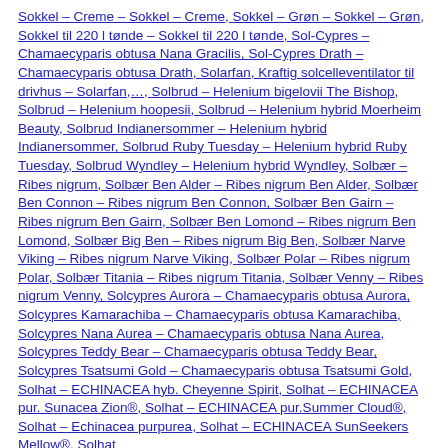Sokkel – Creme – Sokkel – Creme, Sokkel – Grøn – Sokkel – Grøn, Sokkel til 220 l tønde – Sokkel til 220 l tønde, Sol-Cypres – Chamaecyparis obtusa Nana Gracilis, Sol-Cypres Drath – Chamaecyparis obtusa Drath, Solarfan, Kraftig solcelleventilator til drivhus – Solarfan,…, Solbrud – Helenium bigelovii The Bishop, Solbrud – Helenium hoopesii, Solbrud – Helenium hybrid Moerheim Beauty, Solbrud Indianersommer – Helenium hybrid Indianersommer, Solbrud Ruby Tuesday – Helenium hybrid Ruby Tuesday, Solbrud Wyndley – Helenium hybrid Wyndley, Solbær – Ribes nigrum, Solbær Ben Alder – Ribes nigrum Ben Alder, Solbær Ben Connon – Ribes nigrum Ben Connon, Solbær Ben Gairn – Ribes nigrum Ben Gairn, Solbær Ben Lomond – Ribes nigrum Ben Lomond, Solbær Big Ben – Ribes nigrum Big Ben, Solbær Narve Viking – Ribes nigrum Narve Viking, Solbær Polar – Ribes nigrum Polar, Solbær Titania – Ribes nigrum Titania, Solbær Venny – Ribes nigrum Venny, Solcypres Aurora – Chamaecyparis obtusa Aurora, Solcypres Kamarachiba – Chamaecyparis obtusa Kamarachiba, Solcypres Nana Aurea – Chamaecyparis obtusa Nana Aurea, Solcypres Teddy Bear – Chamaecyparis obtusa Teddy Bear, Solcypres Tsatsumi Gold – Chamaecyparis obtusa Tsatsumi Gold, Solhat – ECHINACEA hyb. Cheyenne Spirit, Solhat – ECHINACEA pur. Sunacea Zion®, Solhat – ECHINACEA pur.Summer Cloud®, Solhat – Echinacea purpurea, Solhat – ECHINACEA SunSeekers Mellow®, Solhat